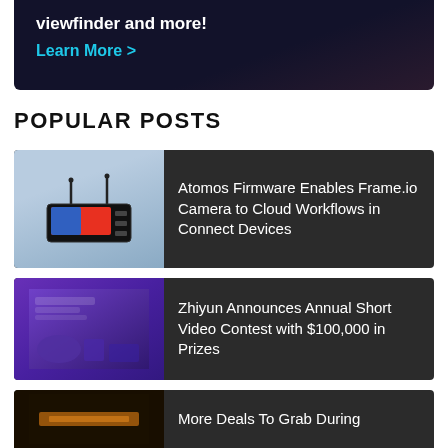[Figure (photo): Dark banner advertisement with text 'viewfinder and more!' and a 'Learn More >' link in cyan]
POPULAR POSTS
[Figure (photo): Atomos device thumbnail — wireless monitor/recorder with antennas]
Atomos Firmware Enables Frame.io Camera to Cloud Workflows in Connect Devices
[Figure (photo): Zhiyun annual short video contest promotional graphic with purple/blue tone]
Zhiyun Announces Annual Short Video Contest with $100,000 in Prizes
[Figure (photo): Dark thumbnail for deals article]
More Deals To Grab During